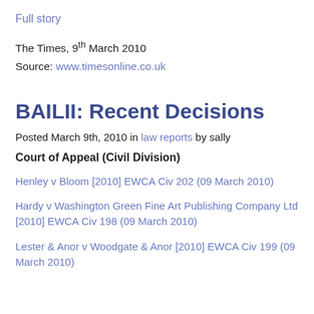Full story
The Times, 9th March 2010
Source: www.timesonline.co.uk
BAILII: Recent Decisions
Posted March 9th, 2010 in law reports by sally
Court of Appeal (Civil Division)
Henley v Bloom [2010] EWCA Civ 202 (09 March 2010)
Hardy v Washington Green Fine Art Publishing Company Ltd [2010] EWCA Civ 198 (09 March 2010)
Lester & Anor v Woodgate & Anor [2010] EWCA Civ 199 (09 March 2010)